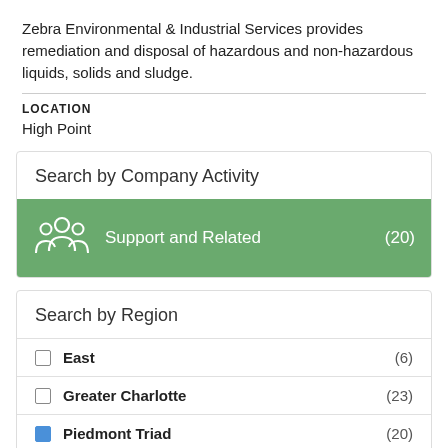Zebra Environmental & Industrial Services provides remediation and disposal of hazardous and non-hazardous liquids, solids and sludge.
LOCATION
High Point
Search by Company Activity
[Figure (infographic): Green banner row with people/group icon showing 'Support and Related (20)']
Search by Region
East (6)
Greater Charlotte (23)
Piedmont Triad (20)